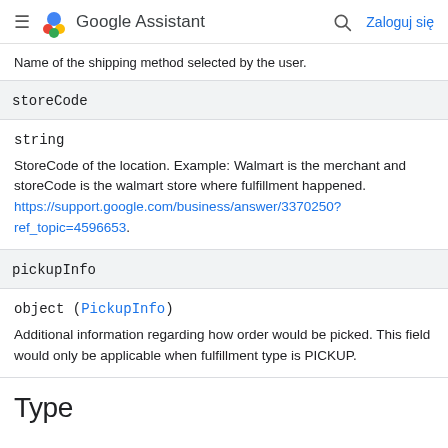Google Assistant — Zaloguj się
Name of the shipping method selected by the user.
storeCode
string
StoreCode of the location. Example: Walmart is the merchant and storeCode is the walmart store where fulfillment happened. https://support.google.com/business/answer/3370250?ref_topic=4596653.
pickupInfo
object (PickupInfo)
Additional information regarding how order would be picked. This field would only be applicable when fulfillment type is PICKUP.
Type